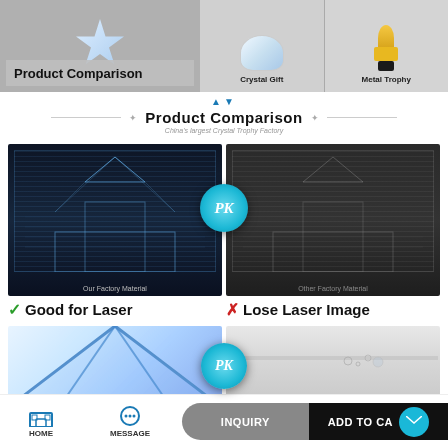[Figure (photo): Top banner showing product navigation: Product Comparison (left, with crystal star), Crystal Gift (heart crystal), Metal Trophy (gold trophy)]
Product Comparison
China's largest Crystal Trophy Factory
[Figure (photo): Side-by-side comparison of two 3D laser-engraved crystal blocks showing a building/castle. Left shows clear blue laser engraving labeled 'Our Factory Material', right shows faded gray engraving labeled 'Other Factory Material'. A 'PK' badge overlaps the center.]
✓ Good for Laser    ✗ Lose Laser Image
[Figure (photo): Bottom comparison row: left shows a crystal pyramid with blue geometric lines, right shows a surface with small defects/bubbles. PK badge partially visible.]
HOME   MESSAGE   INQUIRY   ADD TO CART